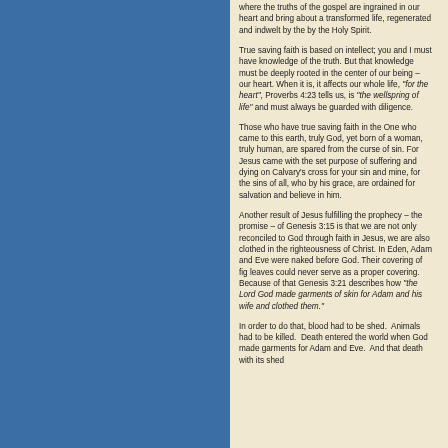where the truths of the gospel are ingrained in our heart and bring about a transformed life, regenerated and indwelt by the by the Holy Spirit.
True saving faith is based on intellect; you and I must have knowledge of the truth. But that knowledge must be deeply rooted in the center of our being – our heart. When it is, it affects our whole life, "for the heart", Proverbs 4:23 tells us, is "the wellspring of life" and must always be guarded with diligence.
Those who have true saving faith in the One who came to this earth, truly God, yet born of a woman, truly human, are spared from the curse of sin. For Jesus came with the set purpose of suffering and dying on Calvary's cross for your sin and mine, for the sins of all, who by his grace, are ordained for salvation and believe in him.
Another result of Jesus fulfilling the prophecy – the promise – of Genesis 3:15 is that we are not only reconciled to God through faith in Jesus, we are also clothed in the righteousness of Christ. In Eden, Adam and Eve were naked before God. Their covering of fig leaves could never serve as a proper covering. Because of that Genesis 3:21 describes how "the Lord God made garments of skin for Adam and his wife and clothed them."
In order to do that, blood had to be shed.  Animals had to be killed.  Death entered the world when God made garments for Adam and Eve.  And that death with its shed blood...